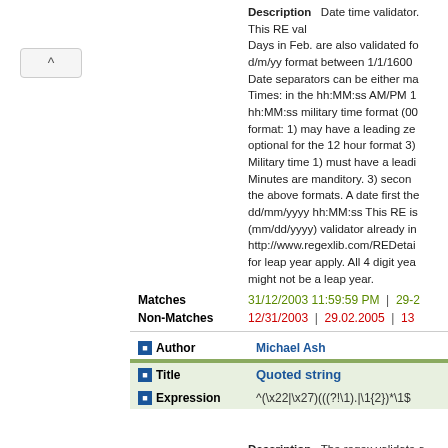Description: Date time validator. This RE validates Days in Feb. are also validated for d/m/yy format between 1/1/1600. Date separators can be either m. Times: in the hh:MM:ss AM/PM 1 hh:MM:ss military time format (00 format: 1) may have a leading ze optional for the 12 hour format 3) Military time 1) must have a leadi Minutes are manditory. 3) secon the above formats. A date first the dd/mm/yyyy hh:MM:ss This RE is (mm/dd/yyyy) validator already in http://www.regexlib.com/REDetai for leap year apply. All 4 digit yea might not be a leap year.
Matches: 31/12/2003 11:59:59 PM | 29-2...
Non-Matches: 12/31/2003 | 29.02.2005 | 13...
Author: Michael Ash
Quoted string
Expression: ^(\x22|\x27)(((?!\1).|\1{2})*\1$
Description: The regex validate a quoted string, contain the containing quote cha...